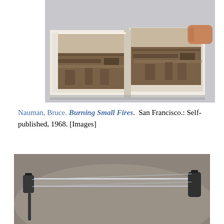[Figure (photo): Photograph of an open artist book being held open by a hand, showing a panoramic sepia-toned image of an industrial or demolished landscape spread across two pages.]
Nauman, Bruce. Burning Small Fires. San Francisco.: Self-published, 1968. [Images]
[Figure (photo): Photograph of a glass and metal sculpture or architectural element — a clear glass panel held by two dark cylindrical metal clamps or brackets, one on each side.]